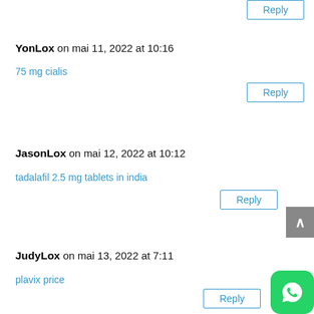YonLox on mai 11, 2022 at 10:16
75 mg cialis
JasonLox on mai 12, 2022 at 10:12
tadalafil 2.5 mg tablets in india
JudyLox on mai 13, 2022 at 7:11
plavix price